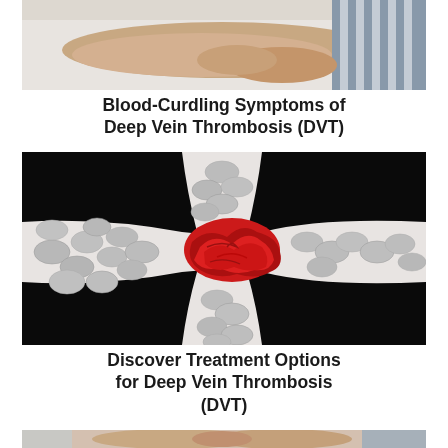[Figure (photo): Photo of a person lying down, showing arm/body resting on a white surface, wearing a striped garment — partial top crop]
Blood-Curdling Symptoms of Deep Vein Thrombosis (DVT)
[Figure (illustration): 3D medical illustration of a blood vessel cross-section showing white blood cell discs and a red blood clot (thrombus) forming at a junction, on a black background]
Discover Treatment Options for Deep Vein Thrombosis (DVT)
[Figure (photo): Photo of a person's legs, hands pressing on lower leg — partial bottom crop, suggesting DVT leg pain or examination]